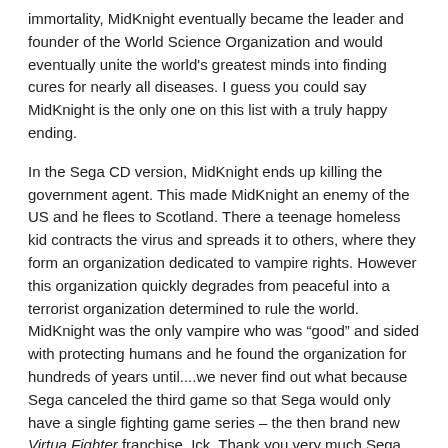immortality, MidKnight eventually became the leader and founder of the World Science Organization and would eventually unite the world's greatest minds into finding cures for nearly all diseases. I guess you could say MidKnight is the only one on this list with a truly happy ending.
In the Sega CD version, MidKnight ends up killing the government agent. This made MidKnight an enemy of the US and he flees to Scotland. There a teenage homeless kid contracts the virus and spreads it to others, where they form an organization dedicated to vampire rights. However this organization quickly degrades from peaceful into a terrorist organization determined to rule the world. MidKnight was the only vampire who was “good” and sided with protecting humans and he found the organization for hundreds of years until....we never find out what because Sega canceled the third game so that Sega would only have a single fighting game series – the then brand new Virtua Fighter franchise. Ick. Thank you very much Sega. There’s a reason you died horribly and now your undead corpse is being raped by Sammy on a daily basis.